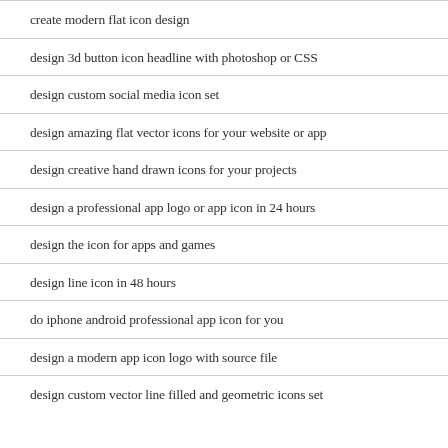create modern flat icon design
design 3d button icon headline with photoshop or CSS
design custom social media icon set
design amazing flat vector icons for your website or app
design creative hand drawn icons for your projects
design a professional app logo or app icon in 24 hours
design the icon for apps and games
design line icon in 48 hours
do iphone android professional app icon for you
design a modern app icon logo with source file
design custom vector line filled and geometric icons set